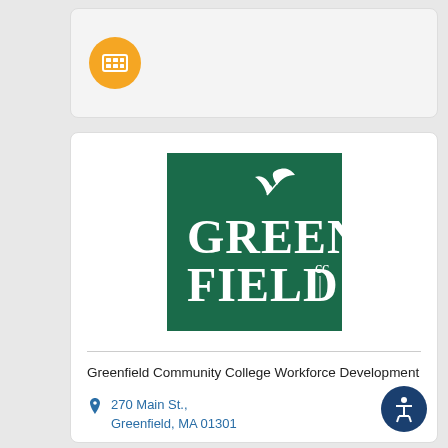[Figure (logo): Orange circle icon with a grid/keyboard symbol inside]
[Figure (logo): Greenfield Community College logo: dark green square with white text GREENFIELD CC and a plant/leaf graphic]
Greenfield Community College Workforce Development
270 Main St., Greenfield, MA 01301
(413) 775-1661
[Figure (logo): Accessibility icon: dark blue circle with white figure symbol]